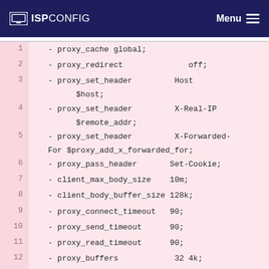ISPCONFIG  Menu
1  - proxy_cache global;
2  - proxy_redirect                 off;
3  - proxy_set_header           Host
         $host;
4  - proxy_set_header           X-Real-IP
         $remote_addr;
5  - proxy_set_header           X-Forwarded-For $proxy_add_x_forwarded_for;
6  - proxy_pass_header         Set-Cookie;
7  - client_max_body_size    10m;
8  - client_body_buffer_size 128k;
9  - proxy_connect_timeout   90;
10 - proxy_send_timeout       90;
11 - proxy_read_timeout       90;
12 - proxy_buffers               32 4k;
13 -
14 - set $cache_key
      $scheme$host$uri$is_args$args$cookie_user;